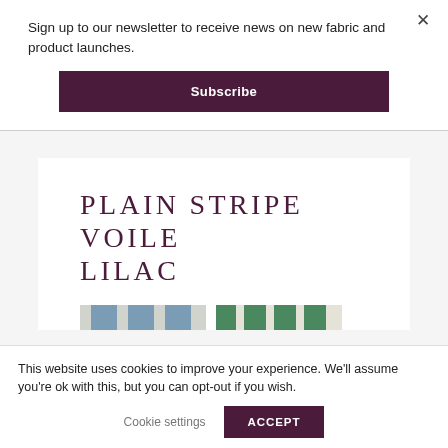Sign up to our newsletter to receive news on new fabric and product launches.
Subscribe
PLAIN STRIPE VOILE LILAC
[Figure (photo): Two fabric swatch samples showing striped voile patterns: one in blue-grey and white stripes, one in green and white stripes.]
This website uses cookies to improve your experience. We'll assume you're ok with this, but you can opt-out if you wish.
Cookie settings
ACCEPT